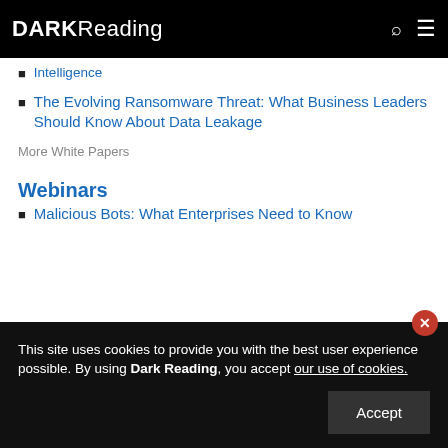DARK Reading
Intelligence
The Evolving Ransomware Threat: What Business Leaders Should Know About Data Leakage
More White Papers
Webinars
Malicious Bots: What Enterprises Need to Know
This site uses cookies to provide you with the best user experience possible. By using Dark Reading, you accept our use of cookies.